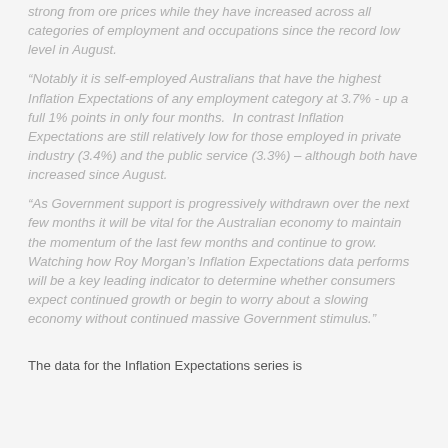strong from ore prices while they have increased across all categories of employment and occupations since the record low level in August.
“Notably it is self-employed Australians that have the highest Inflation Expectations of any employment category at 3.7% - up a full 1% points in only four months.  In contrast Inflation Expectations are still relatively low for those employed in private industry (3.4%) and the public service (3.3%) – although both have increased since August.
“As Government support is progressively withdrawn over the next few months it will be vital for the Australian economy to maintain the momentum of the last few months and continue to grow. Watching how Roy Morgan’s Inflation Expectations data performs will be a key leading indicator to determine whether consumers expect continued growth or begin to worry about a slowing economy without continued massive Government stimulus.”
The data for the Inflation Expectations series is